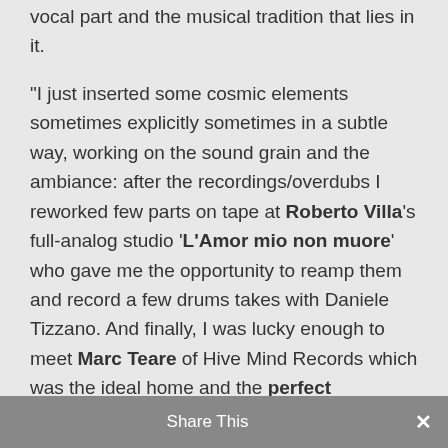vocal part and the musical tradition that lies in it. "I just inserted some cosmic elements sometimes explicitly sometimes in a subtle way, working on the sound grain and the ambiance: after the recordings/overdubs I reworked few parts on tape at Roberto Villa's full-analog studio 'L'Amor mio non muore' who gave me the opportunity to reamp them and record a few drums takes with Daniele Tizzano. And finally, I was lucky enough to meet Marc Teare of Hive Mind Records which was the ideal home and the perfect conclusion to the whole project,
Share This ×